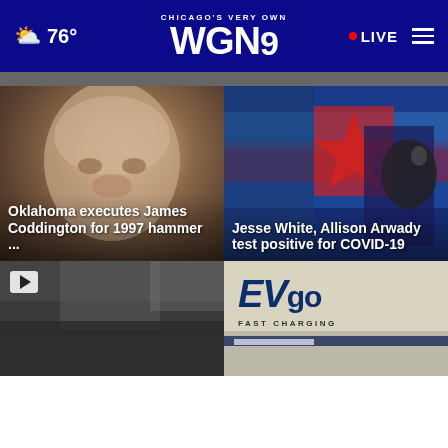76° CHICAGO'S VERY OWN WGN9 • LIVE
[Figure (screenshot): WGN9 website header with weather showing cloud icon and 76°, centered WGN9 logo with 'CHICAGO'S VERY OWN', red live dot and LIVE text, and hamburger menu icon]
[Figure (photo): Close-up mugshot-style photo of a bald/balding man with headline: Oklahoma executes James Coddington for 1997 hammer ...]
[Figure (photo): Press conference photo with Chicago flag and officials with headline: Jesse White, Allison Arwady test positive for COVID-19]
[Figure (screenshot): Video thumbnail with play button showing dark street scene]
[Figure (photo): EVgo fast charging station signage - navy blue EVgo logo with 'FAST CHARGING' text]